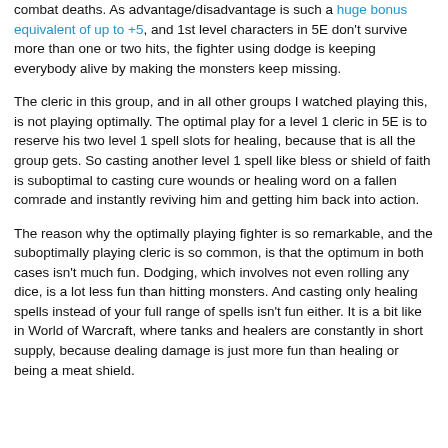combat deaths. As advantage/disadvantage is such a huge bonus equivalent of up to +5, and 1st level characters in 5E don't survive more than one or two hits, the fighter using dodge is keeping everybody alive by making the monsters keep missing.
The cleric in this group, and in all other groups I watched playing this, is not playing optimally. The optimal play for a level 1 cleric in 5E is to reserve his two level 1 spell slots for healing, because that is all the group gets. So casting another level 1 spell like bless or shield of faith is suboptimal to casting cure wounds or healing word on a fallen comrade and instantly reviving him and getting him back into action.
The reason why the optimally playing fighter is so remarkable, and the suboptimally playing cleric is so common, is that the optimum in both cases isn't much fun. Dodging, which involves not even rolling any dice, is a lot less fun than hitting monsters. And casting only healing spells instead of your full range of spells isn't fun either. It is a bit like in World of Warcraft, where tanks and healers are constantly in short supply, because dealing damage is just more fun than healing or being a meat shield.